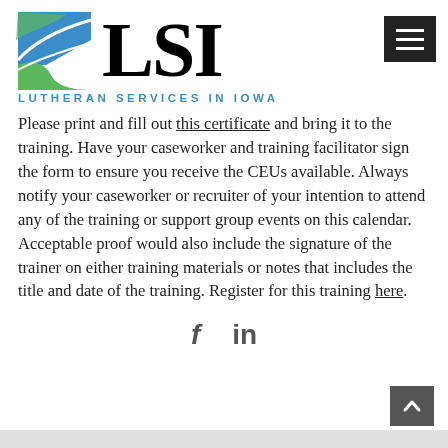[Figure (logo): LSI Lutheran Services in Iowa logo with blue and green graphic icon and large LSI text]
Please print and fill out this certificate and bring it to the training. Have your caseworker and training facilitator sign the form to ensure you receive the CEUs available. Always notify your caseworker or recruiter of your intention to attend any of the training or support group events on this calendar. Acceptable proof would also include the signature of the trainer on either training materials or notes that includes the title and date of the training. Register for this training here.
[Figure (other): Social media icons: Facebook (f) and LinkedIn (in)]
[Figure (other): Back to top button with upward chevron arrow]